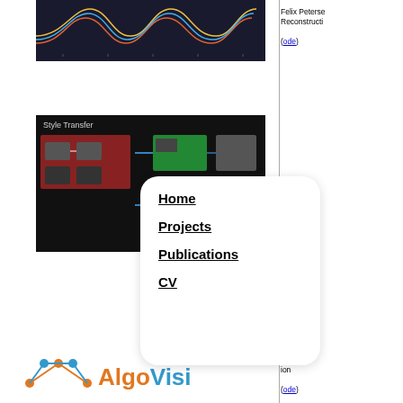[Figure (screenshot): Line chart visualization with colored waveforms on dark background]
[Figure (screenshot): Style Transfer workflow visualization on dark background with colored panels and arrows]
[Figure (logo): AlgoVisi logo with orange and blue connected graph nodes]
[Figure (flowchart): Neural network diagram with flowchart showing discriminator and conditioning components]
[Figure (infographic): Contrastive loss and Clustering loss diagram with chopping visualization]
Felix Peterse Reconstructi
ode)
erse ion
ode)
pelle Hila Barak Le Saenko, Shi Supervised C
(pdf)
Brian Chen, Boggust, Ra Michael Pich from Unlabel